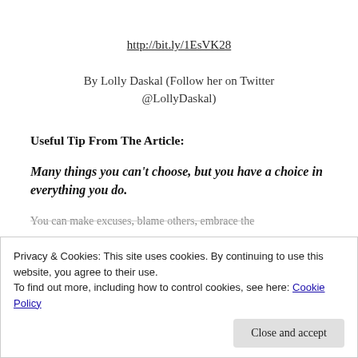http://bit.ly/1EsVK28
By Lolly Daskal (Follow her on Twitter @LollyDaskal)
Useful Tip From The Article:
Many things you can't choose, but you have a choice in everything you do.
You can make excuses, blame others, embrace the
Privacy & Cookies: This site uses cookies. By continuing to use this website, you agree to their use.
To find out more, including how to control cookies, see here: Cookie Policy